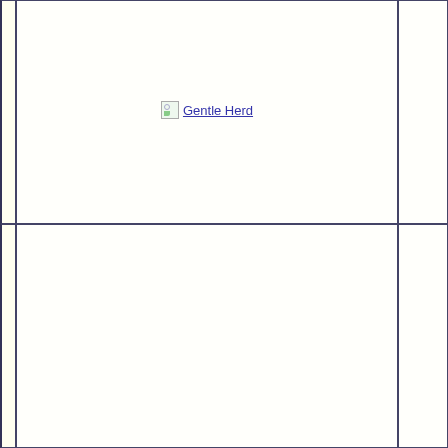[Figure (other): A broken image link placeholder showing 'Gentle Herd' as linked text with a small broken image icon, centered in the top main cell of a two-row grid layout on a cream/off-white background.]